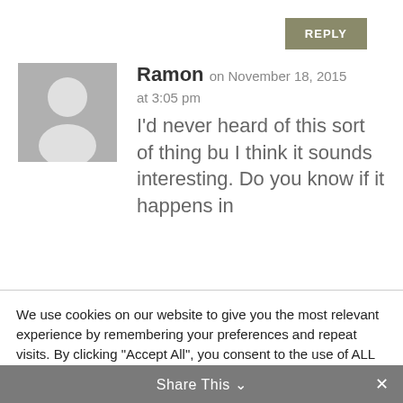REPLY
Ramon on November 18, 2015
at 3:05 pm
I'd never heard of this sort of thing bu I think it sounds interesting. Do you know if it happens in
We use cookies on our website to give you the most relevant experience by remembering your preferences and repeat visits. By clicking "Accept All", you consent to the use of ALL the cookies. However, you may visit "Cookie Settings" to provide a controlled consent.
Cookie Settings
Accept All
Share This ∨  ✕